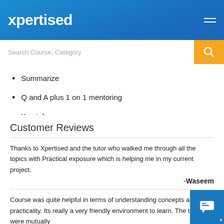xpertised
[Figure (screenshot): Search bar with orange search button]
Summarize
Q and A plus 1 on 1 mentoring
Key takeaways
Customer Reviews
Thanks to Xpertised and the tutor who walked me through all the topics with Practical exposure which is helping me in my current project.
-Waseem
Course was quite helpful in terms of understanding concepts and practicality. Its really a very friendly environment to learn. The timing were mutually